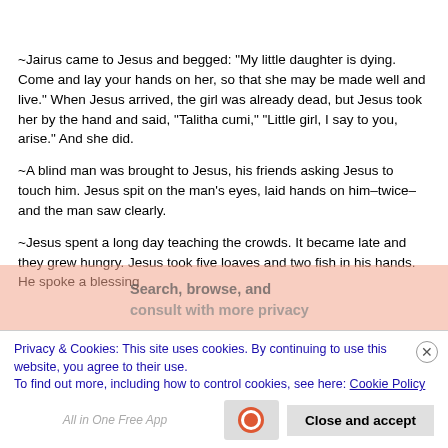~Jairus came to Jesus and begged: "My little daughter is dying. Come and lay your hands on her, so that she may be made well and live." When Jesus arrived, the girl was already dead, but Jesus took her by the hand and said, "Talitha cumi," "Little girl, I say to you, arise." And she did.
~A blind man was brought to Jesus, his friends asking Jesus to touch him. Jesus spit on the man's eyes, laid hands on him–twice–and the man saw clearly.
~Jesus spent a long day teaching the crowds. It became late and they grew hungry. Jesus took five loaves and two fish in his hands. He spoke a blessing
Privacy & Cookies: This site uses cookies. By continuing to use this website, you agree to their use.
To find out more, including how to control cookies, see here: Cookie Policy